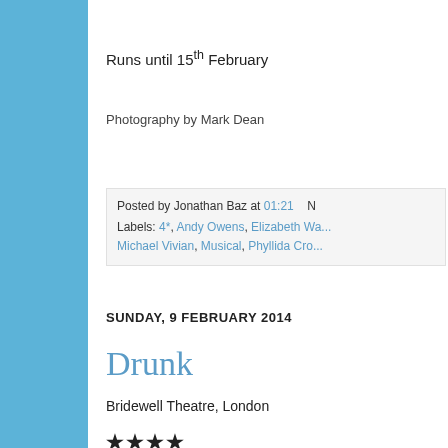Runs until 15th February
Photography by Mark Dean
Posted by Jonathan Baz at 01:21    N
Labels: 4*, Andy Owens, Elizabeth Wa...
Michael Vivian, Musical, Phyllida Cro...
SUNDAY, 9 FEBRUARY 2014
Drunk
Bridewell Theatre, London
****
Music & lyrics by Grant Olding
Directed & choregraphed by Dre...